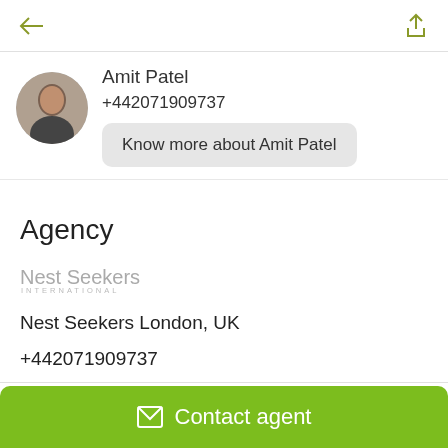[Figure (other): Back arrow navigation icon (olive/yellow-green color)]
[Figure (other): Share/upload icon (olive/yellow-green color)]
[Figure (photo): Circular profile photo of Amit Patel, a man in a dark jacket]
Amit Patel
+442071909737
Know more about Amit Patel
Agency
[Figure (logo): Nest Seekers International logo in grey text]
Nest Seekers London, UK
+442071909737
1 Cornhill
Contact agent